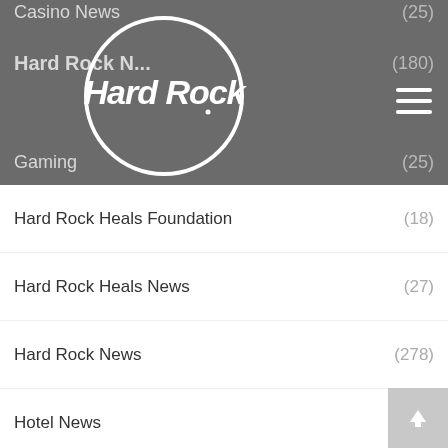Hard Rock (navigation header with logo and hamburger menu)
Casino News (25)
Hard Rock News (180)
Gaming (25)
Hard Rock Heals Foundation (18)
Hard Rock Heals News (27)
Hard Rock News (278)
Hotel News (63)
Philanthropy (73)
Pinktober (13)
Press Releases (171)
REVERB (4)
Rock Shop (7)
Uncategorized (14)